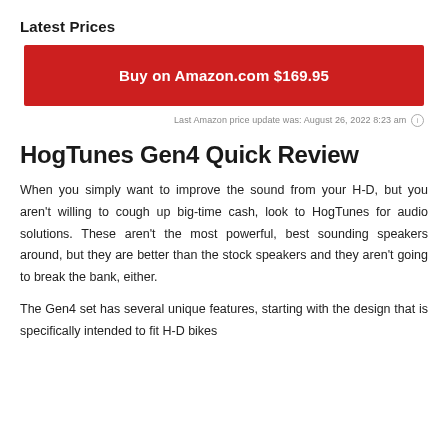Latest Prices
Buy on Amazon.com $169.95
Last Amazon price update was: August 26, 2022 8:23 am ℹ
HogTunes Gen4 Quick Review
When you simply want to improve the sound from your H-D, but you aren't willing to cough up big-time cash, look to HogTunes for audio solutions. These aren't the most powerful, best sounding speakers around, but they are better than the stock speakers and they aren't going to break the bank, either.
The Gen4 set has several unique features, starting with the design that is specifically intended to fit H-D bikes